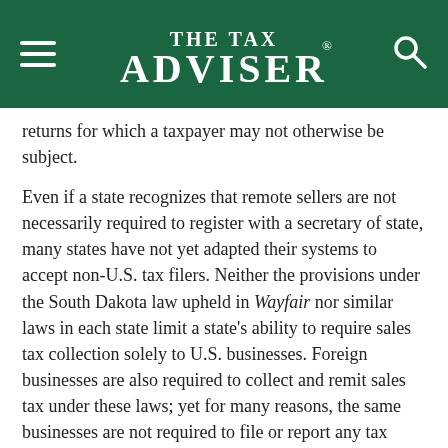THE TAX ADVISER
returns for which a taxpayer may not otherwise be subject.
Even if a state recognizes that remote sellers are not necessarily required to register with a secretary of state, many states have not yet adapted their systems to accept non-U.S. tax filers. Neither the provisions under the South Dakota law upheld in Wayfair nor similar laws in each state limit a state's ability to require sales tax collection solely to U.S. businesses. Foreign businesses are also required to collect and remit sales tax under these laws; yet for many reasons, the same businesses are not required to file or report any tax information at the federal level. Without a federal identification number for the business, or at least a U.S. Social Security number for an officer, many states' systems cannot even process a registration. It has been the authors' experience that some states' online systems will not even accept an address or telephone number that is not in a U.S. format.
Similarly, with secretary of state registrations, calls for